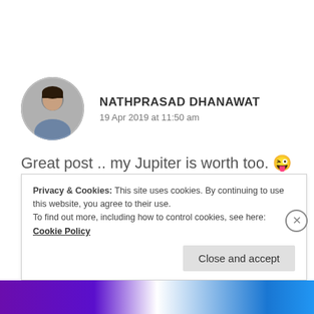NATHPRASAD DHANAWAT
19 Apr 2019 at 11:50 am
Great post .. my Jupiter is worth too. 😜 Keep writing
★ Liked by 1 person
Privacy & Cookies: This site uses cookies. By continuing to use this website, you agree to their use.
To find out more, including how to control cookies, see here: Cookie Policy
Close and accept